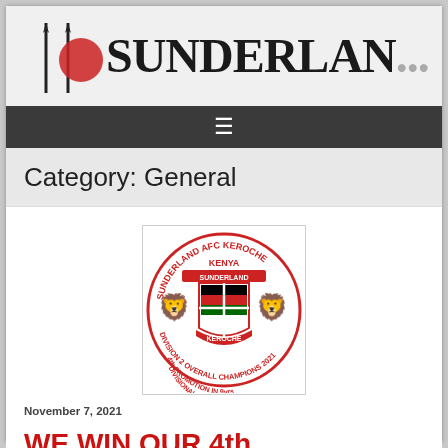[Figure (logo): Website header with logo on left (red circle with vertical bar accents) and partial text SUNDERLAN in bold serif font on right, on light gray background]
≡
Category: General
[Figure (logo): Sunderland AFC Keroche club badge - circular crest with two lions, Kenya flag colors, shield, text reading SUNDERLAND AFC KEROCHE, KENYA, DIVISION 2 OVERALL CHAMPIONS 2021, 4th PROMOTION IN 9yrs, DIVISIONAL LEAGUE COME]
November 7, 2021
WE WIN OUR 4th